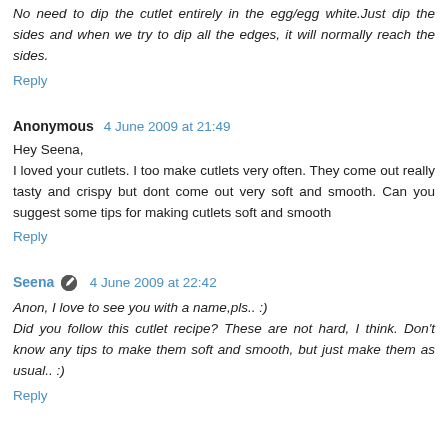No need to dip the cutlet entirely in the egg/egg white.Just dip the sides and when we try to dip all the edges, it will normally reach the sides.
Reply
Anonymous  4 June 2009 at 21:49
Hey Seena,
I loved your cutlets. I too make cutlets very often. They come out really tasty and crispy but dont come out very soft and smooth. Can you suggest some tips for making cutlets soft and smooth
Reply
Seena  4 June 2009 at 22:42
Anon, I love to see you with a name,pls.. :)
Did you follow this cutlet recipe? These are not hard, I think. Don't know any tips to make them soft and smooth, but just make them as usual.. :)
Reply